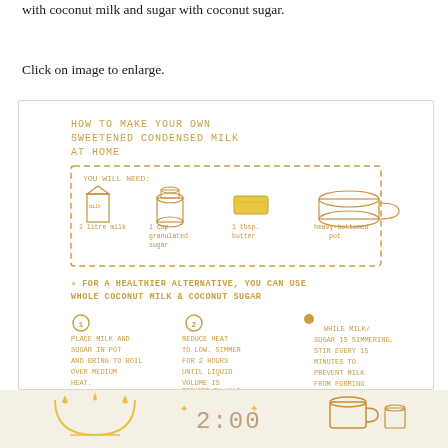with coconut milk and sugar with coconut sugar.
Click on image to enlarge.
[Figure (infographic): Hand-drawn infographic titled 'HOW TO MAKE YOUR OWN SWEETENED CONDENSED MILK AT HOME'. Shows ingredients in a dashed box: 1 litre milk, 1 cup granulated sugar, 1 tbsp. butter, heavy-bottomed pot. Notes: FOR A HEALTHIER ALTERNATIVE, YOU CAN USE WHOLE COCONUT MILK & COCONUT SUGAR. Steps: 1) Place milk and sugar in pot and bring to boil over medium heat. 2) Reduce heat to low. Simmer for 2 hours until liquid volume is reduced by half. 3) While milk/sugar is simmering, stir every 15 minutes to prevent milk from forming skin on top. Bottom shows decorative timer and cooking vessel illustrations.]